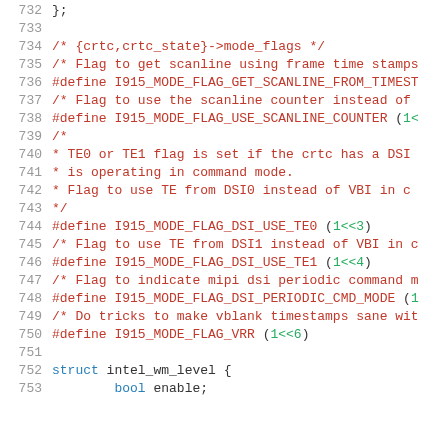Source code listing, lines 732–753, showing C preprocessor defines and struct declaration for Intel i915 DRM driver mode flags.